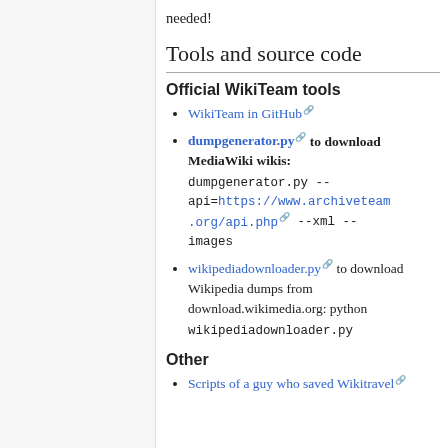needed!
Tools and source code
Official WikiTeam tools
WikiTeam in GitHub
dumpgenerator.py to download MediaWiki wikis: python dumpgenerator.py --api=https://www.archiveteam.org/api.php --xml --images
wikipediadownloader.py to download Wikipedia dumps from download.wikimedia.org: python wikipediadownloader.py
Other
Scripts of a guy who saved Wikitravel